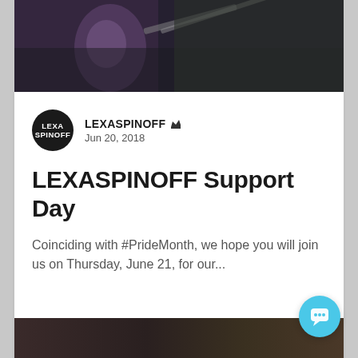[Figure (photo): Dark action scene photo showing figures with weapons, partial view at top of card]
LEXASPINOFF Jun 20, 2018
LEXASPINOFF Support Day
Coinciding with #PrideMonth, we hope you will join us on Thursday, June 21, for our...
689  0
[Figure (photo): Dark photo of a person, partially visible at bottom of page]